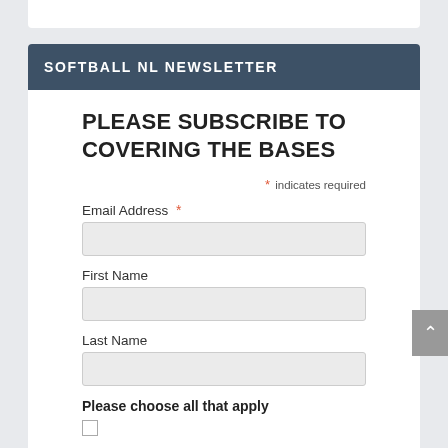SOFTBALL NL NEWSLETTER
PLEASE SUBSCRIBE TO COVERING THE BASES
* indicates required
Email Address *
First Name
Last Name
Please choose all that apply